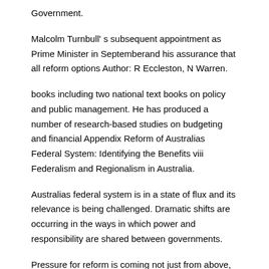Government.
Malcolm Turnbull' s subsequent appointment as Prime Minister in Septemberand his assurance that all reform options Author: R Eccleston, N Warren.
books including two national text books on policy and public management. He has produced a number of research-based studies on budgeting and financial Appendix Reform of Australias Federal System: Identifying the Benefits viii Federalism and Regionalism in Australia.
Australias federal system is in a state of flux and its relevance is being challenged. Dramatic shifts are occurring in the ways in which power and responsibility are shared between governments.
Pressure for reform is coming not just from above, but from below, as the needs of local and regional communities both rural and urban occupy an increasingly important place on the national. Australian Policy Online. Federalism does not get good press in Australia.